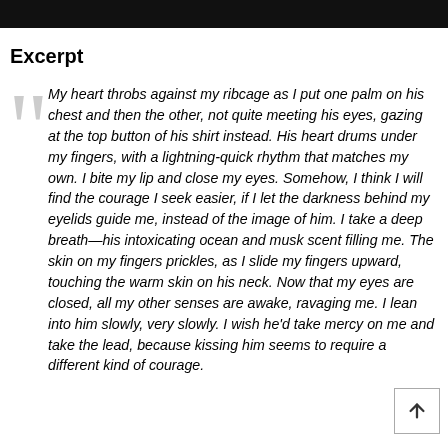Excerpt
My heart throbs against my ribcage as I put one palm on his chest and then the other, not quite meeting his eyes, gazing at the top button of his shirt instead. His heart drums under my fingers, with a lightning-quick rhythm that matches my own. I bite my lip and close my eyes. Somehow, I think I will find the courage I seek easier, if I let the darkness behind my eyelids guide me, instead of the image of him. I take a deep breath—his intoxicating ocean and musk scent filling me. The skin on my fingers prickles, as I slide my fingers upward, touching the warm skin on his neck. Now that my eyes are closed, all my other senses are awake, ravaging me. I lean into him slowly, very slowly. I wish he'd take mercy on me and take the lead, because kissing him seems to require a different kind of courage.